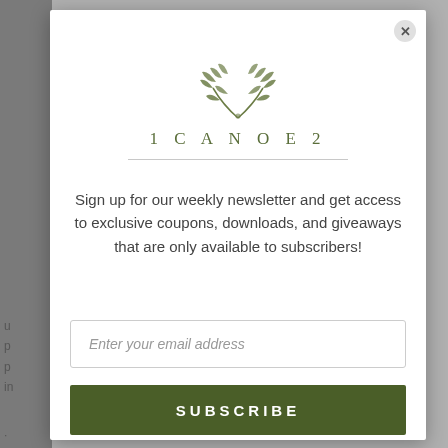[Figure (logo): 1CANOE2 brand logo with botanical leaf/branch illustration above the text]
Sign up for our weekly newsletter and get access to exclusive coupons, downloads, and giveaways that are only available to subscribers!
Enter your email address
SUBSCRIBE